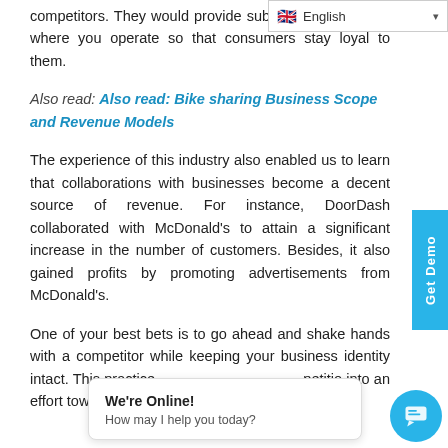English
competitors. They would provide subsidies in the areas where you operate so that consumers stay loyal to them.
Also read: Also read: Bike sharing Business Scope and Revenue Models
The experience of this industry also enabled us to learn that collaborations with businesses become a decent source of revenue. For instance, DoorDash collaborated with McDonald's to attain a significant increase in the number of customers. Besides, it also gained profits by promoting advertisements from McDonald's.
One of your best bets is to go ahead and shake hands with a competitor while keeping your business identity intact. This practice ... petitio into an effort towa...